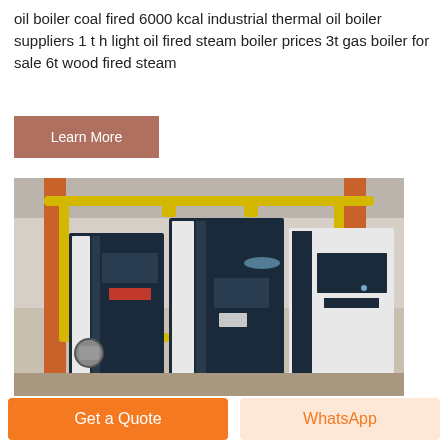oil boiler coal fired 6000 kcal industrial thermal oil boiler suppliers 1 t h light oil fired steam boiler prices 3t gas boiler for sale 6t wood fired steam
Learn More
[Figure (photo): Industrial gas boilers installed in a boiler room, showing large white and dark blue boiler units with yellow gas pipes and orange support columns]
Get a Quote
WhatsApp